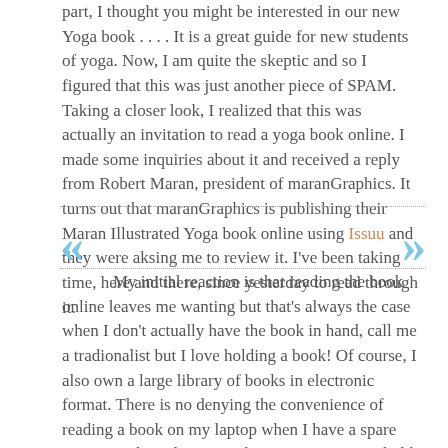part, I thought you might be interested in our new Yoga book . . . .  It is a great guide for new students of yoga.  Now, I am quite the skeptic and so I figured that this was just another piece of SPAM.  Taking a closer look, I realized that this was actually an invitation to read a yoga book online.  I made some inquiries about it and received a reply from Robert Maran, president of maranGraphics.  It turns out that maranGraphics is publishing their Maran Illustrated Yoga book online using Issuu and they were aksing me to review it.  I've been taking time, here and there, since yesterday to read through it.
My initial reaction is that reading the book online leaves me wanting but that's always the case when I don't actually have the book in hand, call me a tradionalist but I love holding a book!  Of course, I also own a large library of books in electronic format.  There is no denying the convenience of reading a book on my laptop when I have a spare moment.  The only reason that I want a copy to hold is that this book is good.  It begins by briefly covering the